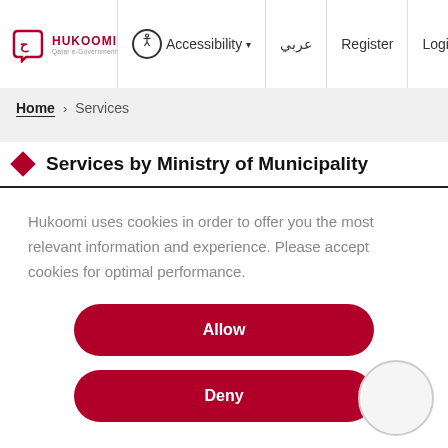HUKOOMI | Accessibility | عربي | Register | Login
Home › Services
Services by Ministry of Municipality
Hukoomi uses cookies in order to offer you the most relevant information and experience. Please accept cookies for optimal performance.
Allow
Deny